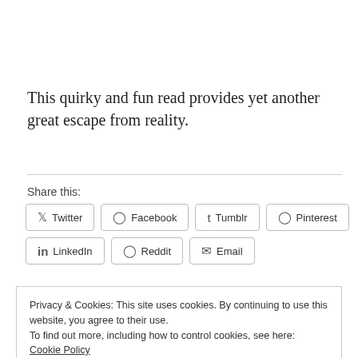This quirky and fun read provides yet another great escape from reality.
Share this:
Twitter  Facebook  Tumblr  Pinterest  LinkedIn  Reddit  Email
Privacy & Cookies: This site uses cookies. By continuing to use this website, you agree to their use.
To find out more, including how to control cookies, see here: Cookie Policy
Close and accept